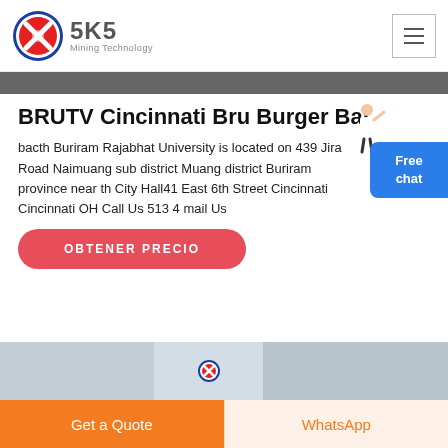SKS Mining Technology
[Figure (logo): SKS Mining Technology logo with red and blue circle emblem and grey text]
BRUTV Cincinnati Bru Burger Bar
bacth Buriram Rajabhat University is located on 439 Jira Road Naimuang sub district Muang district Buriram province near th City Hall41 East 6th Street Cincinnati Cincinnati OH Call Us 513 4 mail Us
[Figure (illustration): Person in white coat standing next to Free chat button]
OBTENER PRECIO
[Figure (photo): Bottom image strip showing building exterior]
Get a Quote
WhatsApp